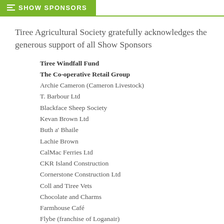SHOW SPONSORS
Tiree Agricultural Society gratefully acknowledges the generous support of all Show Sponsors
Tiree Windfall Fund
The Co-operative Retail Group
Archie Cameron (Cameron Livestock)
T. Barbour Ltd
Blackface Sheep Society
Kevan Brown Ltd
Buth a' Bhaile
Lachie Brown
CalMac Ferries Ltd
CKR Island Construction
Cornerstone Construction Ltd
Coll and Tiree Vets
Chocolate and Charms
Farmhouse Café
Flybe (franchise of Loganair)
The Firm of John Kennedy
Gribun Eggs
Gym and Tonic